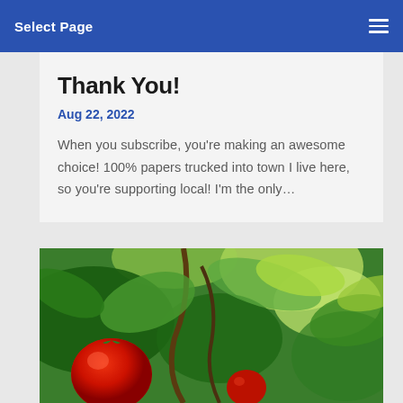Select Page
Thank You!
Aug 22, 2022
When you subscribe, you're making an awesome choice! 100% online = no papers trucked into town I live here, so you're supporting local! I'm the only...
[Figure (photo): Close-up photo of red tomatoes growing on a vine with green leaves in bright sunlight]